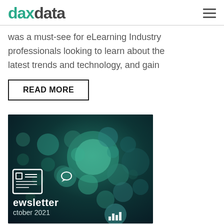daxdata
was a must-see for eLearning Industry professionals looking to learn about the latest trends and technology, and gain
READ MORE
[Figure (photo): Newsletter image with teal glowing circles on dark background showing icons, with text 'newsletter October 2021']